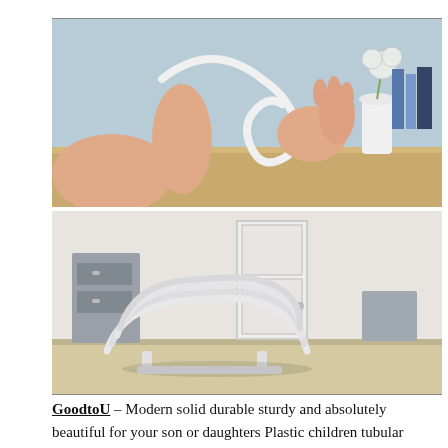[Figure (photo): Hand bending a white plastic tubular hanger, showing its flexibility. Light blue background with a white vase containing a flower.]
[Figure (photo): Stack of white plastic tubular hangers resting on a wooden surface in a room with a white door and grey furniture.]
GoodtoU – Modern solid durable sturdy and absolutely beautiful for your son or daughters Plastic children tubular hangers are lightweight but thick enough to